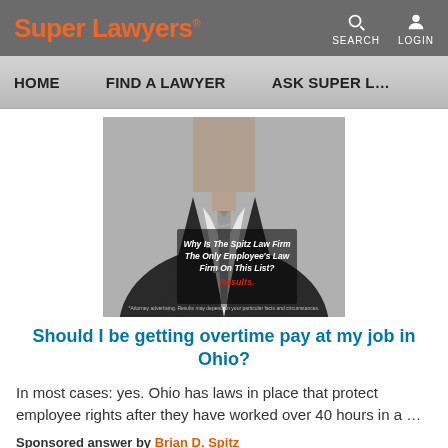Super Lawyers®  SEARCH  LOGIN
HOME   FIND A LAWYER   ASK SUPER L…
[Figure (photo): Headless man in a dark suit with a striped tie. Overlaid text reads: 'Why Is The Spitz Law Firm The Only Employee's Law Firm On This List? Results.']
Should I be getting overtime pay at my job in Ohio?
In most cases: yes. Ohio has laws in place that protect employee rights after they have worked over 40 hours in a …
Sponsored answer by Brian D. Spitz